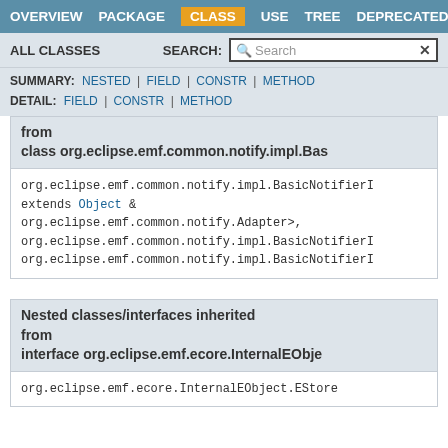OVERVIEW | PACKAGE | CLASS | USE | TREE | DEPRECATED
ALL CLASSES | SEARCH:
SUMMARY: NESTED | FIELD | CONSTR | METHOD
DETAIL: FIELD | CONSTR | METHOD
from
class org.eclipse.emf.common.notify.impl.Bas
org.eclipse.emf.common.notify.impl.BasicNotifierI extends Object & org.eclipse.emf.common.notify.Adapter>, org.eclipse.emf.common.notify.impl.BasicNotifierI org.eclipse.emf.common.notify.impl.BasicNotifierI
Nested classes/interfaces inherited from
interface org.eclipse.emf.ecore.InternalEObje
org.eclipse.emf.ecore.InternalEObject.EStore